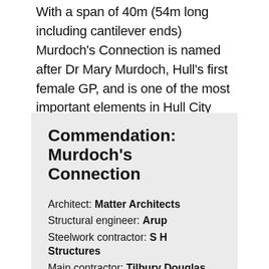With a span of 40m (54m long including cantilever ends) Murdoch's Connection is named after Dr Mary Murdoch, Hull's first female GP, and is one of the most important elements in Hull City Council's (HCC) masterplan for joining the north of the city centre to the vibrant southern waterfront.
Commendation: Murdoch's Connection
Architect: Matter Architects
Structural engineer: Arup
Steelwork contractor: S H Structures
Main contractor: Tilbury Douglas Construction
Client: Highways England